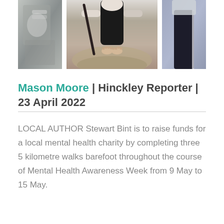[Figure (photo): Three side-by-side photographs showing people outdoors on a dirt path, including barefoot image from above]
Mason Moore | Hinckley Reporter | 23 April 2022
LOCAL AUTHOR Stewart Bint is to raise funds for a local mental health charity by completing three 5 kilometre walks barefoot throughout the course of Mental Health Awareness Week from 9 May to 15 May.